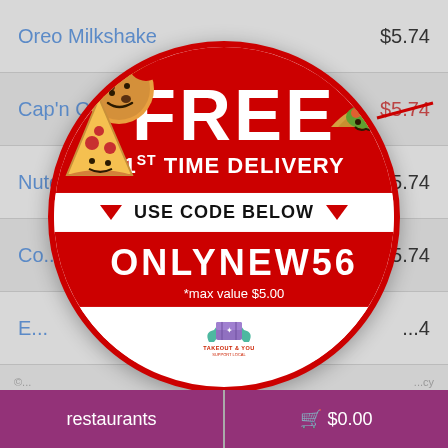Oreo Milkshake   $5.74
Cap'n Crunch...  $5.74 (crossed out)
Nutella...       $5.74
Co...            $5.74
E...             ...4
[Figure (infographic): Circular promotional badge with red border on white background. Top red section shows food emoji illustrations (cookie, taco, pizza slice) with red dots scattered. Large white text: 'FREE' and '1ST TIME DELIVERY'. White stripe in middle with downward triangles and text 'USE CODE BELOW'. Red bottom section with white text promo code 'ONLYNEW56' and '*max value $5.00'. White area at bottom with Takeout & You logo.]
restaurants   🛒 $0.00